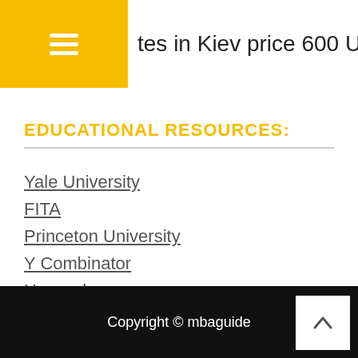tes in Kiev price 600 UAH for 1 hours
EDUCATIONAL RESOURCES:
Yale University
FITA
Princeton University
Y Combinator
Harvard
Copyright © mbaguide